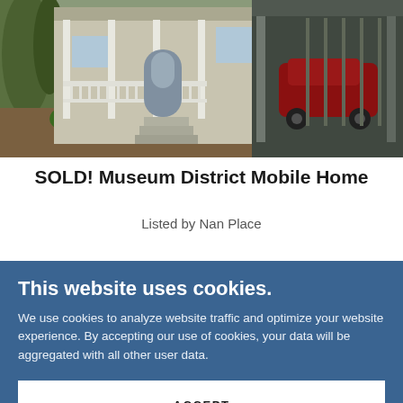[Figure (photo): Exterior photo of a mobile home with a front porch, white railings, tropical landscaping with palms and shrubs, and a carport with a red car parked inside.]
SOLD! Museum District Mobile Home
Listed by Nan Place
This website uses cookies.
We use cookies to analyze website traffic and optimize your website experience. By accepting our use of cookies, your data will be aggregated with all other user data.
ACCEPT